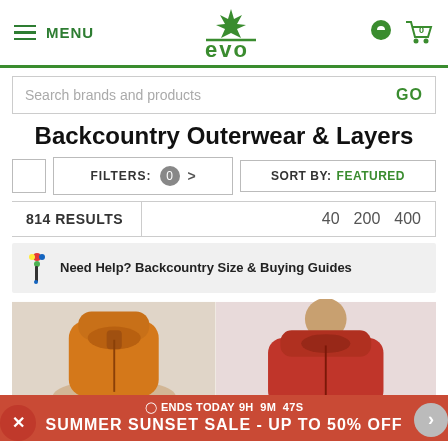[Figure (screenshot): Evo website header with hamburger menu, evo logo in green, location pin and cart icons]
Search brands and products   GO
Backcountry Outerwear & Layers
FILTERS: 0 >   SORT BY: FEATURED
814 RESULTS   40  200  400
Need Help? Backcountry Size & Buying Guides
[Figure (photo): Two product photos: orange puffer jacket on left, red puffer jacket on right]
⊙ENDS TODAY9H 9M 47S
SUMMER SUNSET SALE - UP TO 50% OFF